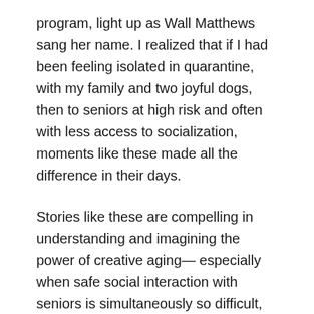program, light up as Wall Matthews sang her name. I realized that if I had been feeling isolated in quarantine, with my family and two joyful dogs, then to seniors at high risk and often with less access to socialization, moments like these made all the difference in their days.
Stories like these are compelling in understanding and imagining the power of creative aging— especially when safe social interaction with seniors is simultaneously so difficult, yet so necessary.
In addition to attending online workshops, Zoom also gave me the ability to meet more of Arts for Aging's teaching artists, as they would sometimes pop into our weekly online team meetings. When